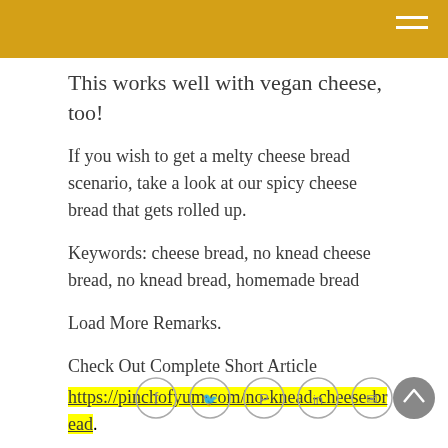This works well with vegan cheese, too!
If you wish to get a melty cheese bread scenario, take a look at our spicy cheese bread that gets rolled up.
Keywords: cheese bread, no knead cheese bread, no knead bread, homemade bread
Load More Remarks.
Check Out Complete Short Article https://pinchofyum.com/no-knead-cheese-bread.
[Figure (other): Social sharing icons row: Facebook, Twitter, Pinterest, LinkedIn, Email circles. Back-to-top button (gray circle with up arrow) at bottom right.]